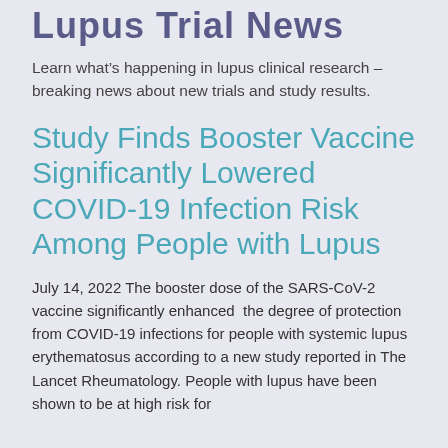Lupus Trial News
Learn what's happening in lupus clinical research – breaking news about new trials and study results.
Study Finds Booster Vaccine Significantly Lowered COVID-19 Infection Risk Among People with Lupus
July 14, 2022 The booster dose of the SARS-CoV-2 vaccine significantly enhanced the degree of protection from COVID-19 infections for people with systemic lupus erythematosus according to a new study reported in The Lancet Rheumatology. People with lupus have been shown to be at high risk for